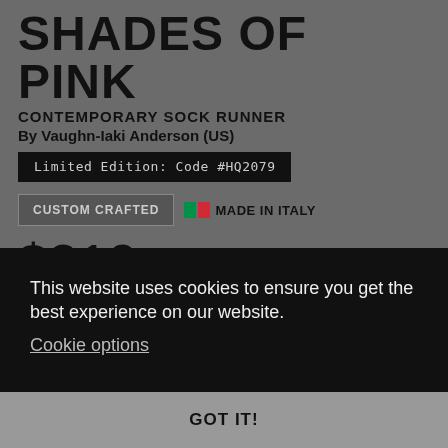SHADES OF PINK
CONTEMPORARY SOCK RUNNER
By Vaughn-Iaki Anderson (US)
Limited Edition: Code #HQ2079
CUSTOM CRAFTED
MADE IN ITALY
$219
This website uses cookies to ensure you get the best experience on our website.
Cookie options
GOT IT!